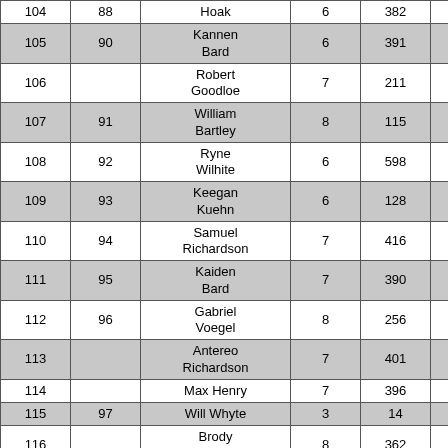| 104 | 88 | Hoak | 6 | 382 |  |
| 105 | 90 | Kannen Bard | 6 | 391 |  |
| 106 |  | Robert Goodloe | 7 | 211 |  |
| 107 | 91 | William Bartley | 8 | 115 |  |
| 108 | 92 | Ryne Wilhite | 6 | 598 |  |
| 109 | 93 | Keegan Kuehn | 6 | 128 |  |
| 110 | 94 | Samuel Richardson | 7 | 416 |  |
| 111 | 95 | Kaiden Bard | 7 | 390 |  |
| 112 | 96 | Gabriel Voegel | 8 | 256 |  |
| 113 |  | Antereo Richardson | 7 | 401 |  |
| 114 |  | Max Henry | 7 | 396 |  |
| 115 | 97 | Will Whyte | 3 | 14 |  |
| 116 |  | Brody Miller | 8 | 362 |  |
| 117 | 98 | Trent Denning | 6 | 247 |  |
| 118 | 99 | Jacob Scheller | 8 | 253 |  |
| 119 | 100 | Hunter Gelhausen | 8 | 470 |  |